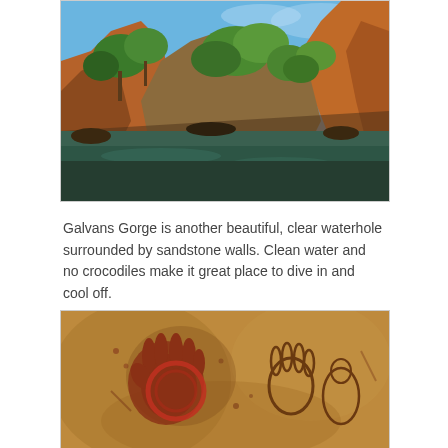[Figure (photo): Photograph of Galvans Gorge waterhole with clear water, sandstone walls, and lush green vegetation and trees against a blue sky.]
Galvans Gorge is another beautiful, clear waterhole surrounded by sandstone walls. Clean water and no crocodiles make it great place to dive in and cool off.
[Figure (photo): Photograph of Aboriginal rock art handprints and figures painted in red-brown tones on a sandstone rock surface.]